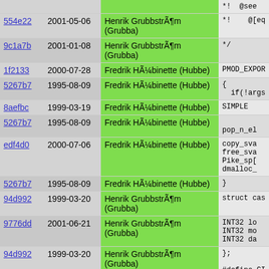| Hash | Date | Author | Code |
| --- | --- | --- | --- |
| 554e22 | 2001-05-06 | Henrik GrubbstrÃ¶m (Grubba) | *!  @[eq |
| 9c1a7b | 2001-01-08 | Henrik GrubbstrÃ¶m (Grubba) | */ |
| 1f2133 | 2000-07-28 | Fredrik HÃ¼binette (Hubbe) | PMOD_EXPOR |
| 5267b7 | 1995-08-09 | Fredrik HÃ¼binette (Hubbe) | {
  if(!args |
| 8aefbc | 1999-03-19 | Fredrik HÃ¼binette (Hubbe) | SIMPLE |
| 5267b7 | 1995-08-09 | Fredrik HÃ¼binette (Hubbe) | pop_n_el |
| edf4d0 | 2000-07-06 | Fredrik HÃ¼binette (Hubbe) | copy_sva
free_sva
Pike_sp[
dmalloc_ |
| 5267b7 | 1995-08-09 | Fredrik HÃ¼binette (Hubbe) | } |
| 94d992 | 1999-03-20 | Henrik GrubbstrÃ¶m (Grubba) | struct cas |
| 9776dd | 2001-06-21 | Henrik GrubbstrÃ¶m (Grubba) | INT32 lo
INT32 mo
INT32 da |
| 94d992 | 1999-03-20 | Henrik GrubbstrÃ¶m (Grubba) | };

#define CI |
| 164d67 | 1999-03-20 | Henrik GrubbstrÃ¶m (Grubba) | #define CI |